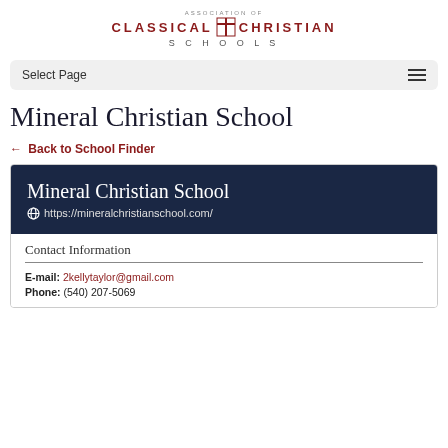[Figure (logo): Association of Classical Christian Schools logo with cross and text]
Select Page
Mineral Christian School
← Back to School Finder
Mineral Christian School
https://mineralchristianschool.com/
Contact Information
E-mail: 2kellytaylor@gmail.com
Phone: (540) 207-5069